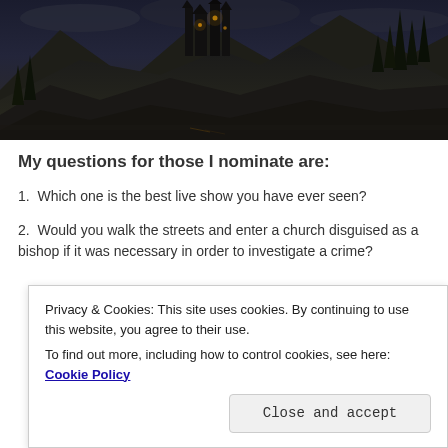[Figure (illustration): Dark fantasy castle on a mountain at night, with pine trees, glowing lights in windows, and a moody sky reflected in water below.]
My questions for those I nominate are:
1.  Which one is the best live show you have ever seen?
2.  Would you walk the streets and enter a church disguised as a bishop if it was necessary in order to investigate a crime?
Privacy & Cookies: This site uses cookies. By continuing to use this website, you agree to their use.
To find out more, including how to control cookies, see here: Cookie Policy
Close and accept